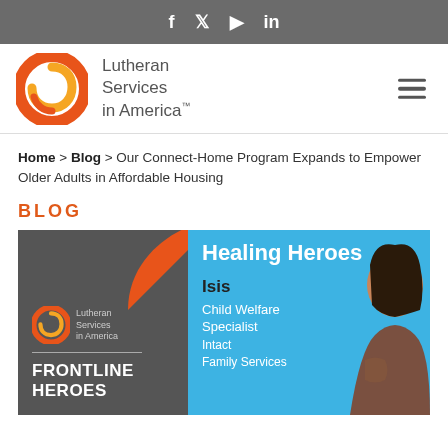f  t  ▶  in
[Figure (logo): Lutheran Services in America logo with orange circular swirl and text 'Lutheran Services in America']
Home > Blog > Our Connect-Home Program Expands to Empower Older Adults in Affordable Housing
BLOG
[Figure (illustration): Blog banner image split in two panels. Left dark grey panel with Lutheran Services in America logo, orange arc decoration, divider line and text 'FRONTLINE HEROES'. Right blue panel with text 'Healing Heroes', 'Isis', 'Child Welfare Specialist', 'Intact Family Services' and a photo of a woman on the right side.]